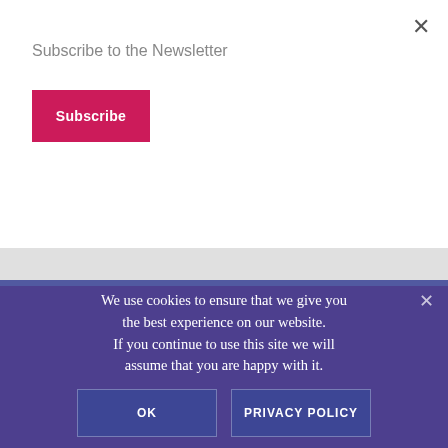Subscribe to the Newsletter
Subscribe
×
Keep In Touch
Subscribe to Building Faith
We use cookies to ensure that we give you the best experience on our website. If you continue to use this site we will assume that you are happy with it.
OK
PRIVACY POLICY
×
Up
Community Foundation
Building Faith